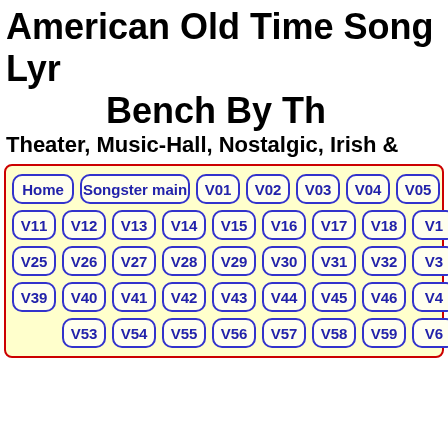American Old Time Song Lyrics — Bench By The...
Theater, Music-Hall, Nostalgic, Irish &...
[Figure (other): Navigation button grid with Home, Songster main, V01-V60 volume buttons in a yellow box with red border]